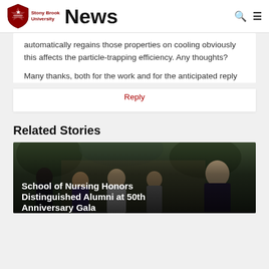Stony Brook University News
automatically regains those properties on cooling obviously this affects the particle-trapping efficiency. Any thoughts?
Many thanks, both for the work and for the anticipated reply
Reply
Related Stories
[Figure (photo): Group photo of people at a gala event with overlaid text: School of Nursing Honors Distinguished Alumni at 50th Anniversary Gala]